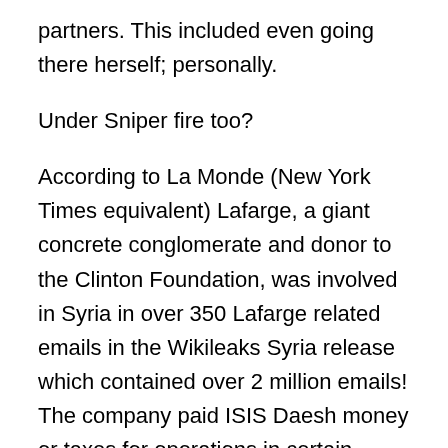partners. This included even going there herself; personally.
Under Sniper fire too?
According to La Monde (New York Times equivalent) Lafarge, a giant concrete conglomerate and donor to the Clinton Foundation, was involved in Syria in over 350 Lafarge related emails in the Wikileaks Syria release which contained over 2 million emails! The company paid ISIS Daesh money or taxes for operations in certain areas; all business engagements. Hillary Clinton's involvement with goes back to 2015 and 2016, money from Lafarge went to her Foundation.